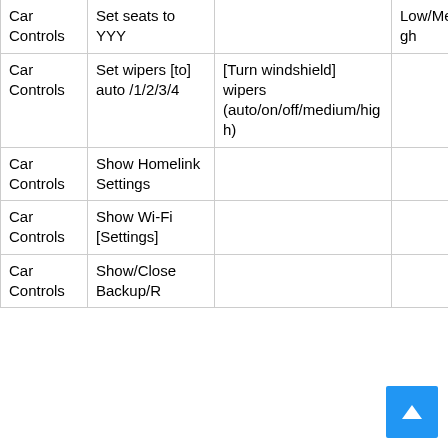| Category | Action | Parameter/Note | Value |
| --- | --- | --- | --- |
| Car Controls | Set seats to YYY |  | Low/Medium/High |
| Car Controls | Set wipers [to] auto /1/2/3/4 | [Turn windshield] wipers (auto/on/off/medium/high) |  |
| Car Controls | Show Homelink Settings |  |  |
| Car Controls | Show Wi-Fi [Settings] |  |  |
| Car Controls | Show/Close Backup/R... |  |  |